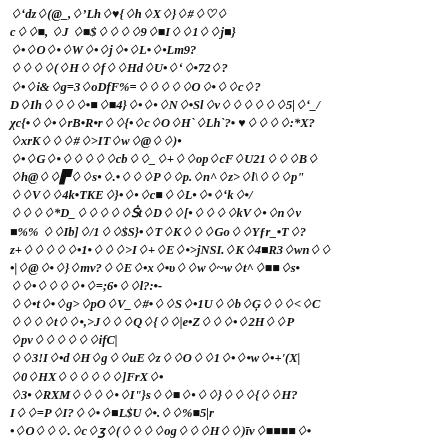corrupt/garbled text content — unreadable encoded/encrypted characters throughout the page